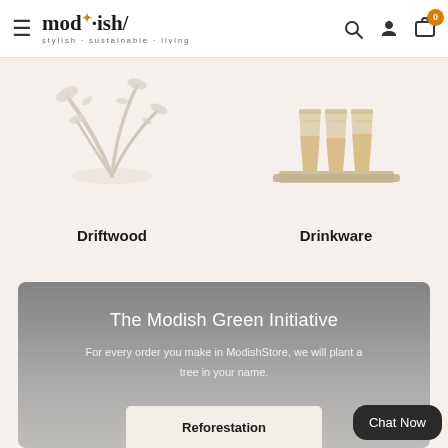mod·ish/ stylish·sustainable·living
[Figure (photo): Driftwood decorative item - silvery white botanical sculpture on beige background]
Driftwood
[Figure (photo): Drinkware set - gold-tinted glasses on wooden tray on beige background]
Drinkware
The Modish Green Initiative
For every order you make in ModishStore, we will plant a tree in your name.
Reforestation
Chat Now